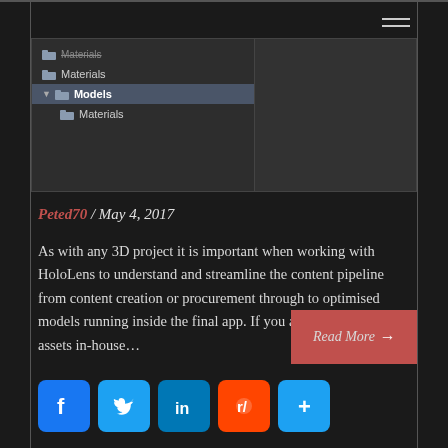[Figure (screenshot): Unity file browser panel showing folder tree with Materials, Models, and nested Materials folders. Selected row is Models.]
Peted70 / May 4, 2017
As with any 3D project it is important when working with HoloLens to understand and streamline the content pipeline from content creation or procurement through to optimised models running inside the final app. If you are creating the assets in-house...
Read More →